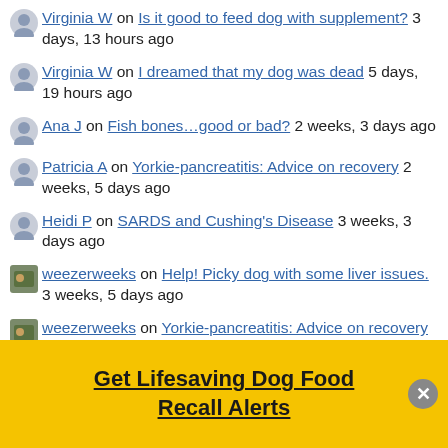Virginia W on Is it good to feed dog with supplement? 3 days, 13 hours ago
Virginia W on I dreamed that my dog was dead 5 days, 19 hours ago
Ana J on Fish bones…good or bad? 2 weeks, 3 days ago
Patricia A on Yorkie-pancreatitis: Advice on recovery 2 weeks, 5 days ago
Heidi P on SARDS and Cushing's Disease 3 weeks, 3 days ago
weezerweeks on Help! Picky dog with some liver issues. 3 weeks, 5 days ago
weezerweeks on Yorkie-pancreatitis: Advice on recovery 3 weeks, 5 days ago
aimee on Carrageenan ? 4 weeks, 1 day ago
Get Lifesaving Dog Food Recall Alerts